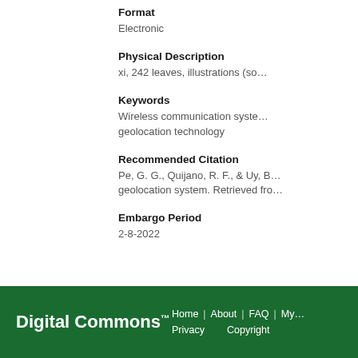Format
Electronic
Physical Description
xi, 242 leaves, illustrations (so…
Keywords
Wireless communication syste… geolocation technology
Recommended Citation
Pe, G. G., Quijano, R. F., & Uy, B… geolocation system. Retrieved fro…
Embargo Period
2-8-2022
Digital Commons™  Home | About | FAQ | My… Privacy   Copyright